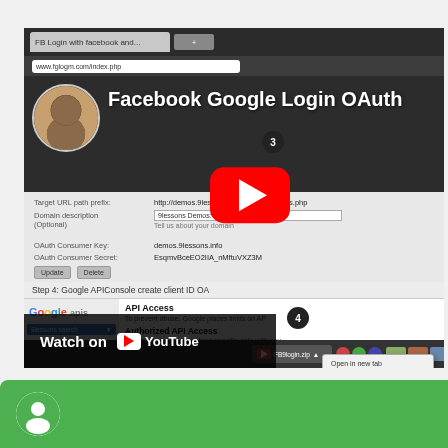[Figure (screenshot): YouTube video thumbnail screenshot showing a tutorial on Facebook Google Login OAuth. The screenshot shows a Chrome browser with a Google APIs console page open, featuring API Access, Authorized API Access, and Branding Information sections. A YouTube play button overlay is visible with a context menu showing 'Copy link address' and 'Inspect element'. A 'Watch on YouTube' overlay bar is at the bottom left. The video title reads 'Facebook Google Login OAuth'.]
[Figure (screenshot): Partial green banner visible at bottom of page, showing the beginning of another YouTube video thumbnail.]